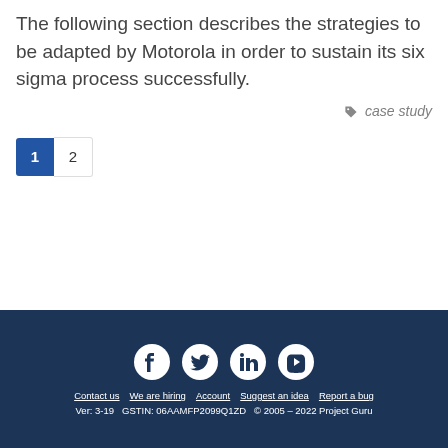The following section describes the strategies to be adapted by Motorola in order to sustain its six sigma process successfully.
case study
1
2
Contact us  We are hiring  Account  Suggest an idea  Report a bug
Ver: 3-19  GSTIN: 06AAMFP2099Q1ZD  © 2005 – 2022 Project Guru